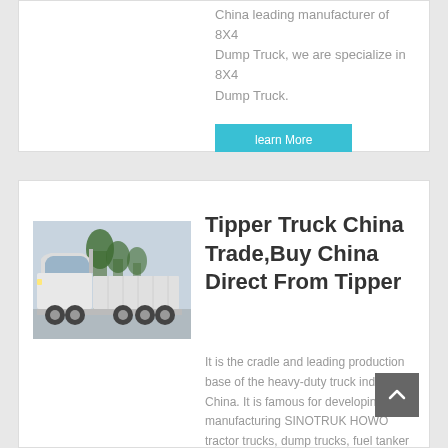China leading manufacturer of 8X4 Dump Truck, we are specialize in 8X4 Dump Truck.
learn More
[Figure (photo): White SINOTRUK HOWO tractor truck parked outdoors with trees in background]
Tipper Truck China Trade,Buy China Direct From Tipper
It is the cradle and leading production base of the heavy-duty truck industry in China. It is famous for developing and manufacturing SINOTRUK HOWO tractor trucks, dump trucks, fuel tanker trucks, cargo trucks and